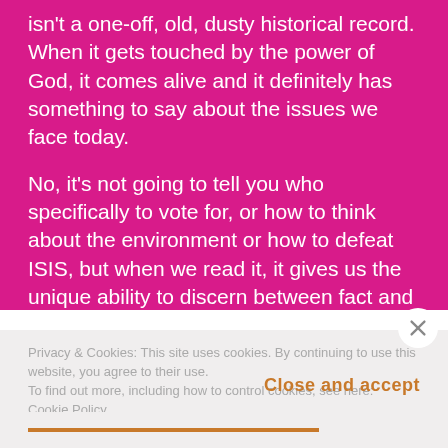isn't a one-off, old, dusty historical record. When it gets touched by the power of God, it comes alive and it definitely has something to say about the issues we face today.
No, it's not going to tell you who specifically to vote for, or how to think about the environment or how to defeat ISIS, but when we read it, it gives us the unique ability to discern between fact and fiction.
Privacy & Cookies: This site uses cookies. By continuing to use this website, you agree to their use. To find out more, including how to control cookies, see here: Cookie Policy
Close and accept